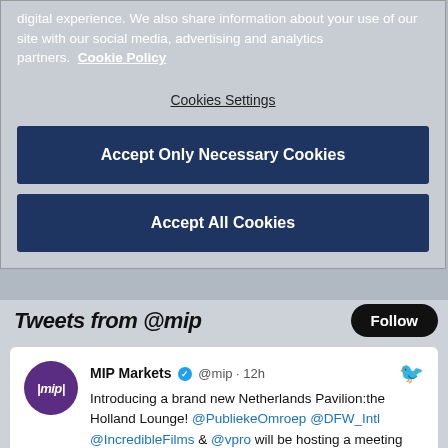digital experience. We also share information about your use of our site with our social media, advertising and analytics partners. Cookie Policy
Cookies Settings
Accept Only Necessary Cookies
Accept All Cookies
Tweets from @mip
MIP Markets @mip · 12h
Introducing a brand new Netherlands Pavilion:the Holland Lounge! @PubliekeOmroep @DFW_Intl @IncredibleFilms & @vpro will be hosting a meeting place at P-1 G51. Be sure to save the date for their Drinks&Bites too on the 18th October at 4pm! ow.ly/3cvJ50Kt0ee